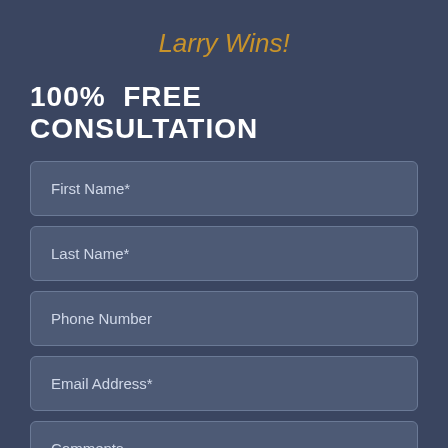Larry Wins!
100%  FREE CONSULTATION
First Name*
Last Name*
Phone Number
Email Address*
Comments